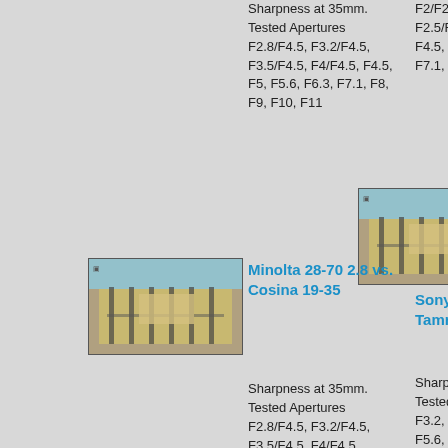Sharpness at 35mm. Tested Apertures F2.8/F4.5, F3.2/F4.5, F3.5/F4.5, F4/F4.5, F4.5, F5, F5.6, F6.3, F7.1, F8, F9, F10, F11
F2/F2.8, F2.2/F2.8, F2.5/F2.8, F2.8, F3.5, F4, F4.5, F5, F5.6, F6.3, F7.1, F8, F9, F10, F11
[Figure (photo): Photograph of iron gate and building, used as lens test target - right column top]
Sony 16-50 vs. Tamron 17-50
Sharpness at 35mm. Tested Apertures F2.8, F3.2, F3.5, F4, F4.5, F5, F5.6, F6.3, F7.1, F8, F9, F10, F11
[Figure (photo): Photograph of iron gate and building, used as lens test target - left column]
Minolta 28-70 2.8 vs. Cosina 19-35
Sharpness at 35mm. Tested Apertures F2.8/F4.5, F3.2/F4.5, F3.5/F4.5, F4/F4.5
[Figure (photo): Photograph of iron gate and building, used as lens test target - right column bottom]
Minolta